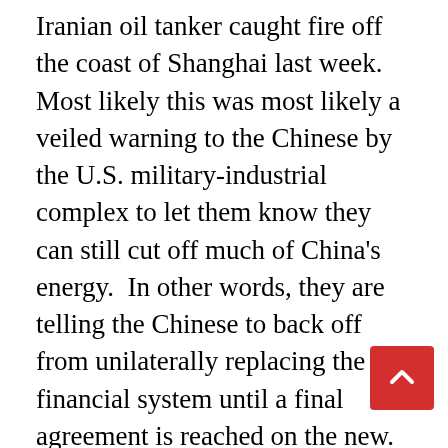Iranian oil tanker caught fire off the coast of Shanghai last week.  Most likely this was most likely a veiled warning to the Chinese by the U.S. military-industrial complex to let them know they can still cut off much of China's energy.  In other words, they are telling the Chinese to back off from unilaterally replacing the old financial system until a final agreement is reached on the new.
Meanwhile, now that the top ranks of the Satan-worshipping Khazarian mafia in the U.S. have been decimated, the white hats are grabbing top European pedophiles and Khazarian mobsters and taking them to the U.S. military base on Diego Garcia Island,